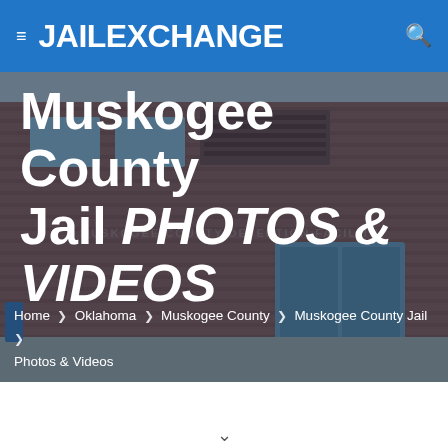≡ JAILEXCHANGE 🔍
[Figure (photo): Exterior photo of Muskogee County Jail, a red/brown brick building with glass entrance doors, overlaid with semi-transparent blue tint]
Muskogee County Jail PHOTOS & VIDEOS
Home > Oklahoma > Muskogee County > Muskogee County Jail > Photos & Videos